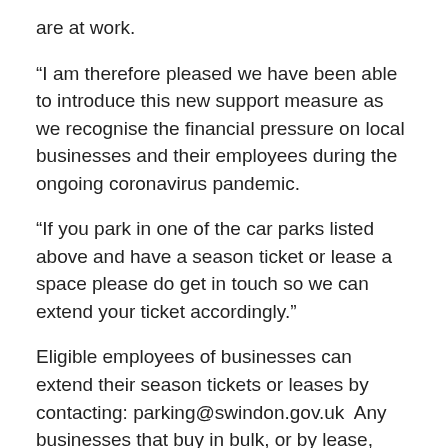are at work.
“I am therefore pleased we have been able to introduce this new support measure as we recognise the financial pressure on local businesses and their employees during the ongoing coronavirus pandemic.
“If you park in one of the car parks listed above and have a season ticket or lease a space please do get in touch so we can extend your ticket accordingly.”
Eligible employees of businesses can extend their season tickets or leases by contacting: parking@swindon.gov.uk  Any businesses that buy in bulk, or by lease, these will be extended automatically and there is no need to contact the Council’s Parking team.
Further details about the Council’s package of support